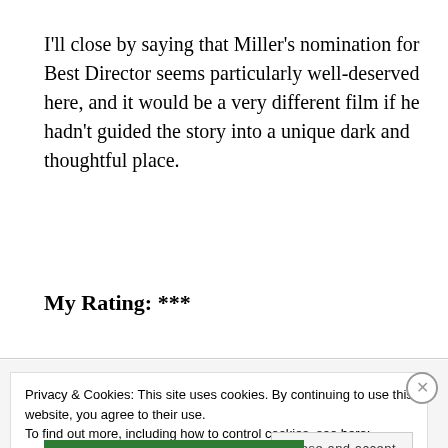I'll close by saying that Miller's nomination for Best Director seems particularly well-deserved here, and it would be a very different film if he hadn't guided the story into a unique dark and thoughtful place.
My Rating: ***
Privacy & Cookies: This site uses cookies. By continuing to use this website, you agree to their use.
To find out more, including how to control cookies, see here: Cookie Policy